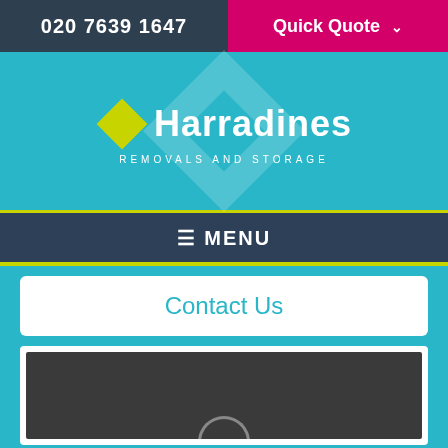020 7639 1647 | Quick Quote
[Figure (logo): Harradines Removals and Storage logo with yellow diamond and white text on teal background]
≡ MENU
Contact Us
[Figure (screenshot): Dark map or video placeholder with partial play button circle visible]
We use cookies to enhance your experience. By continuing to visit this site you agree to our use of cookies. Learn more.